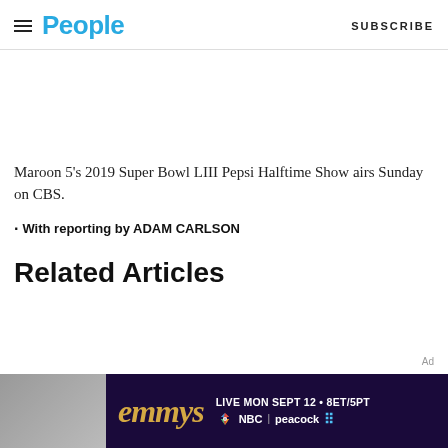People | SUBSCRIBE
Maroon 5’s 2019 Super Bowl LIII Pepsi Halftime Show airs Sunday on CBS.
· With reporting by ADAM CARLSON
Related Articles
[Figure (screenshot): Emmys advertisement banner with dark purple background, 'emmys' text in gold italic, 'LIVE MON SEPT 12 • 8ET/5PT' and NBC peacock logo]
Ad